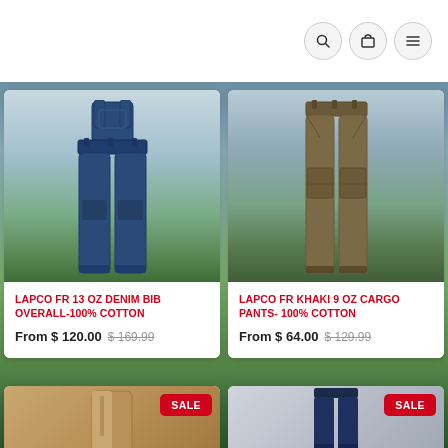[Figure (screenshot): E-commerce page header with search, cart, and menu icon buttons]
[Figure (photo): LAPCO FR 13 OZ Denim Bib Overall product image on outdoor background]
LAPCO FR 13 OZ DENIM BIB OVERALL-100% COTTON
From $ 120.00  $ 169.99
[Figure (photo): LAPCO FR Khaki 9 OZ Cargo Pants product image on outdoor background]
LAPCO FR KHAKI 9 OZ CARGO PANTS- 100% COTTON
From $ 64.00  $ 129.99
[Figure (photo): Partial product card with SALE badge - tan/brown jacket]
[Figure (photo): Partial product card with SALE badge - dark navy pants]